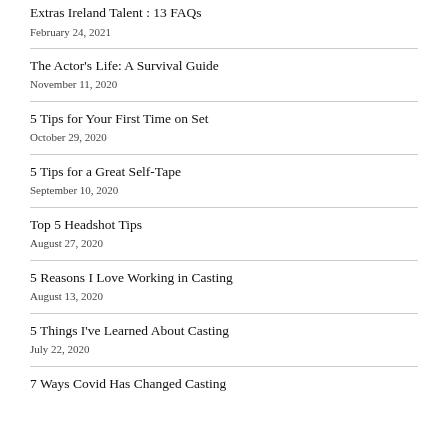Extras Ireland Talent : 13 FAQs
February 24, 2021
The Actor's Life: A Survival Guide
November 11, 2020
5 Tips for Your First Time on Set
October 29, 2020
5 Tips for a Great Self-Tape
September 10, 2020
Top 5 Headshot Tips
August 27, 2020
5 Reasons I Love Working in Casting
August 13, 2020
5 Things I've Learned About Casting
July 22, 2020
7 Ways Covid Has Changed Casting